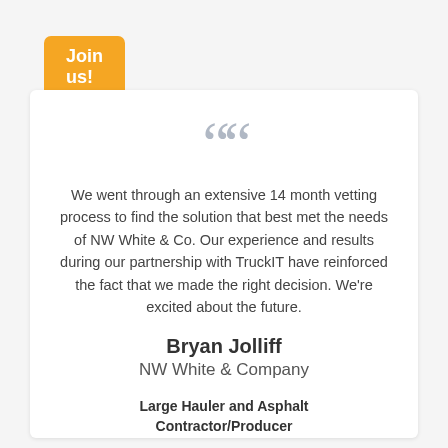Join us!
[Figure (illustration): Large decorative double open-quote mark in gray]
We went through an extensive 14 month vetting process to find the solution that best met the needs of NW White & Co. Our experience and results during our partnership with TruckIT have reinforced the fact that we made the right decision. We're excited about the future.
Bryan Jolliff
NW White & Company
Large Hauler and Asphalt Contractor/Producer